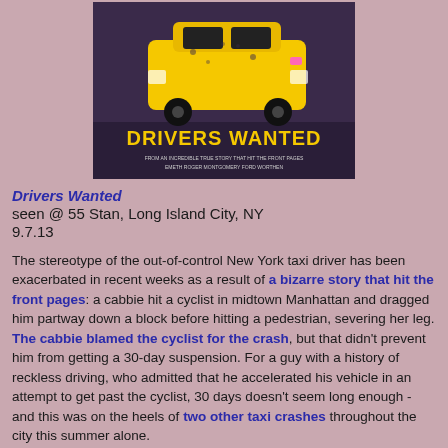[Figure (photo): Movie poster for 'Drivers Wanted' showing a yellow taxi cab with yellow text on a dark background]
Drivers Wanted
seen @ 55 Stan, Long Island City, NY
9.7.13
The stereotype of the out-of-control New York taxi driver has been exacerbated in recent weeks as a result of a bizarre story that hit the front pages: a cabbie hit a cyclist in midtown Manhattan and dragged him partway down a block before hitting a pedestrian, severing her leg. The cabbie blamed the cyclist for the crash, but that didn't prevent him from getting a 30-day suspension. For a guy with a history of reckless driving, who admitted that he accelerated his vehicle in an attempt to get past the cyclist, 30 days doesn't seem long enough - and this was on the heels of two other taxi crashes throughout the city this summer alone.